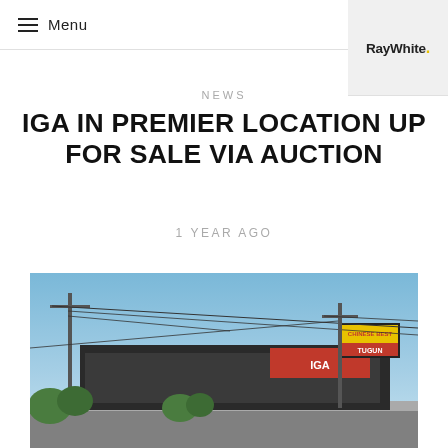≡ Menu
RayWhite.
NEWS
IGA IN PREMIER LOCATION UP FOR SALE VIA AUCTION
1 YEAR AGO
[Figure (photo): Street-level photo of an IGA supermarket at an intersection, with power lines, utility poles, trees, and a billboard sign reading 'TUGUN' visible against a blue sky.]